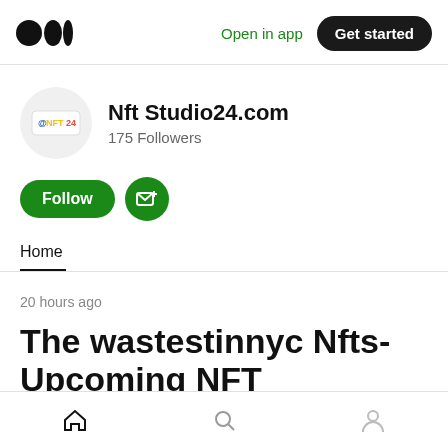Medium logo | Open in app | Get started
Nft Studio24.com
175 Followers
[Figure (illustration): Follow button (green pill) and Subscribe button (green circle with envelope+plus icon)]
Home
20 hours ago
The wastestinnyc Nfts- Upcoming NFT
Home icon | Search icon | Profile icon